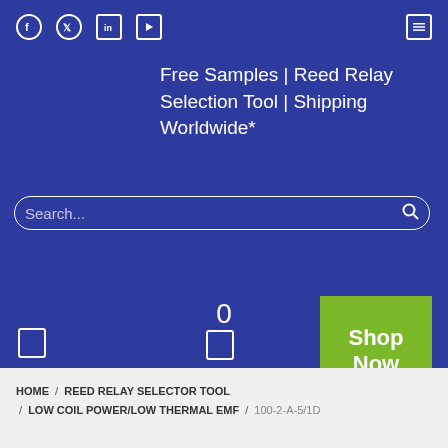Free Samples | Reed Relay Selection Tool | Shipping Worldwide*
Search...
0
Shop Now
HOME / REED RELAY SELECTOR TOOL / LOW COIL POWER/LOW THERMAL EMF / 100-2-A-5/1D